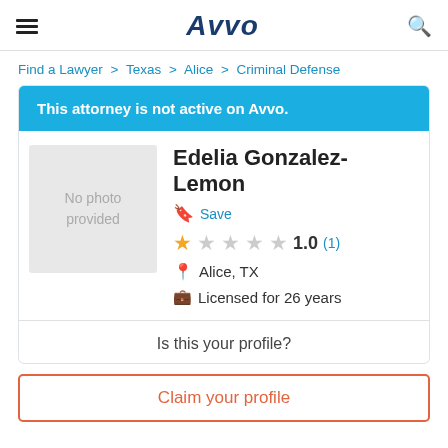Avvo
Find a Lawyer > Texas > Alice > Criminal Defense
This attorney is not active on Avvo.
[Figure (other): No photo provided placeholder]
Edelia Gonzalez-Lemon
Save
1.0 (1)
Alice, TX
Licensed for 26 years
Is this your profile?
Claim your profile